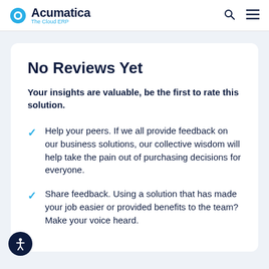Acumatica The Cloud ERP
No Reviews Yet
Your insights are valuable, be the first to rate this solution.
Help your peers. If we all provide feedback on our business solutions, our collective wisdom will help take the pain out of purchasing decisions for everyone.
Share feedback. Using a solution that has made your job easier or provided benefits to the team? Make your voice heard.